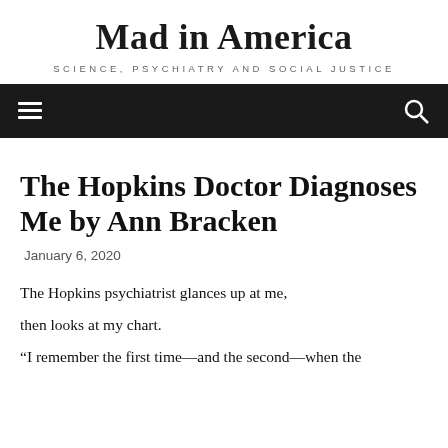Mad in America
SCIENCE, PSYCHIATRY AND SOCIAL JUSTICE
The Hopkins Doctor Diagnoses Me by Ann Bracken
January 6, 2020
The Hopkins psychiatrist glances up at me,
then looks at my chart.
"I remember the first time—and the second—when the